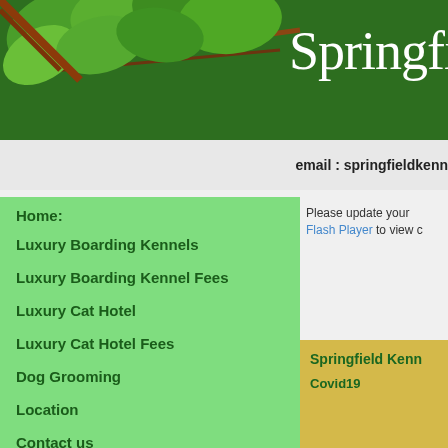[Figure (photo): Green header banner with leaves/foliage on the left and 'Springfi...' text (partial) in white serif font on dark green background]
email : springfieldken...
Please update your Flash Player to view c...
Home
Luxury Boarding Kennels
Luxury Boarding Kennel Fees
Luxury Cat Hotel
Luxury Cat Hotel Fees
Dog Grooming
Location
Contact us
Testimonials
Springfield Kenn...

Covid19